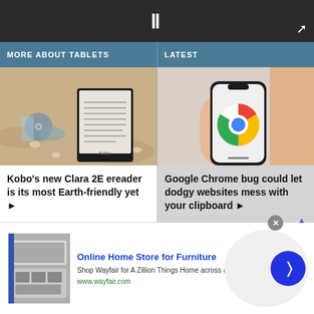II
MORE ABOUT TABLETS
LATEST
[Figure (photo): Kobo Clara 2E ereader on sandy beach surrounded by seashells and CDs]
Kobo’s new Clara 2E ereader is its most Earth-friendly yet ►
[Figure (photo): Hand holding a smartphone displaying the Google Chrome logo]
Google Chrome bug could let dodgy websites mess with your clipboard ►
Online Home Store for Furniture
Shop Wayfair for A Zillion Things Home across all styles
www.wayfair.com